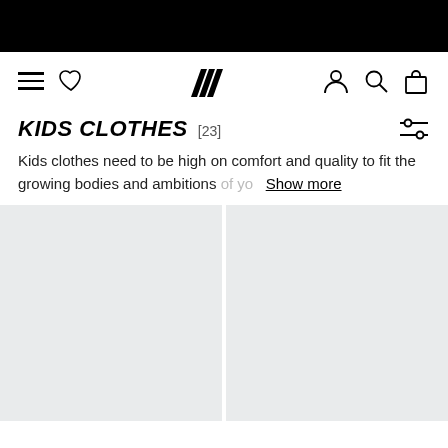Adidas navigation bar with menu, wishlist, logo, account, search, and bag icons
KIDS CLOTHES [23]
Kids clothes need to be high on comfort and quality to fit the growing bodies and ambitions of yo... Show more
[Figure (photo): Two product placeholder tiles in a two-column grid, light gray background]